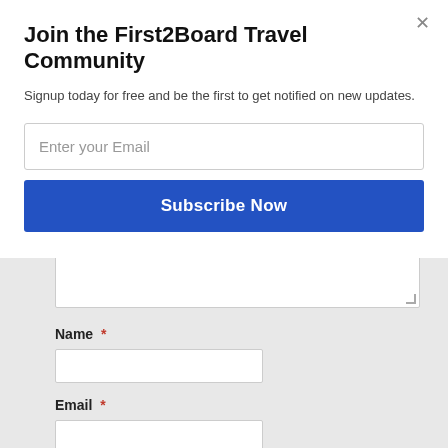Join the First2Board Travel Community
Signup today for free and be the first to get notified on new updates.
[Figure (screenshot): Email input field with placeholder 'Enter your Email']
[Figure (screenshot): Blue 'Subscribe Now' button]
[Figure (screenshot): Textarea input box (resizable) behind modal overlay]
Name *
[Figure (screenshot): Name input field]
Email *
[Figure (screenshot): Email input field]
Website
[Figure (screenshot): Website input field]